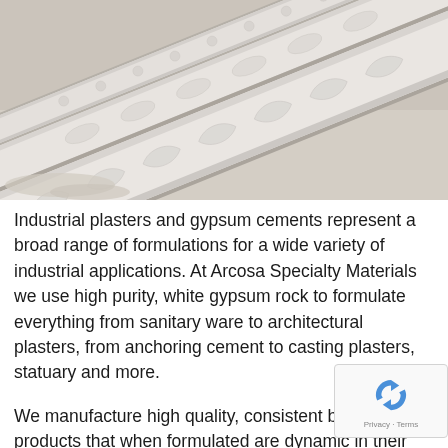[Figure (photo): Close-up photo of white ornate plaster moldings and decorative architectural trim pieces arranged diagonally, with plaster powder/dust visible]
Industrial plasters and gypsum cements represent a broad range of formulations for a wide variety of industrial applications. At Arcosa Specialty Materials we use high purity, white gypsum rock to formulate everything from sanitary ware to architectural plasters, from anchoring cement to casting plasters, statuary and more.
We manufacture high quality, consistent base products that when formulated are dynamic in their application. Arcosa